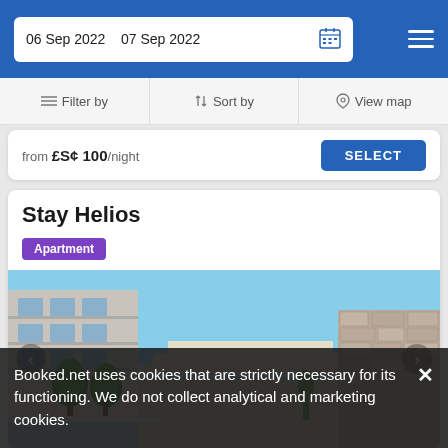06 Sep 2022  07 Sep 2022
Filter by  ↑↓ Sort by  View map
from £S¢ 100/night  SELECT
Stay Helios
Apartment
[Figure (photo): Exterior view of Stay Helios apartment building with terrace, trees, and stone wall]
Booked.net uses cookies that are strictly necessary for its functioning. We do not collect analytical and marketing cookies.